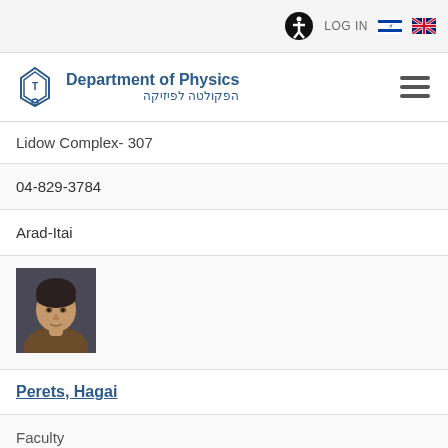LOG IN
[Figure (logo): Department of Physics - Technion logo with Hebrew text הפקולטה לפיזיקה]
Lidow Complex- 307
04-829-3784
Arad-Itai
[Figure (photo): Profile photo of a young man with dark hair wearing a brown jacket]
Perets, Hagai
Faculty
Astrophysics